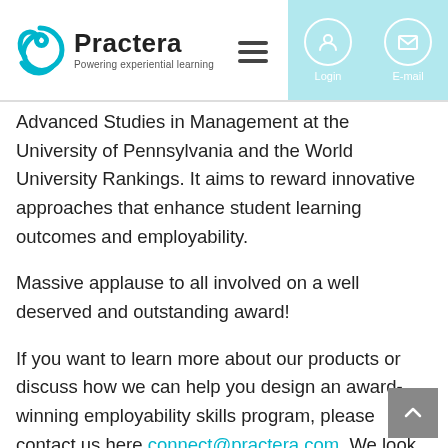Practera — Powering experiential learning
Advanced Studies in Management at the University of Pennsylvania and the World University Rankings. It aims to reward innovative approaches that enhance student learning outcomes and employability.
Massive applause to all involved on a well deserved and outstanding award!
If you want to learn more about our products or discuss how we can help you design an award-winning employability skills program, please contact us here connect@practera.com. We look forward to having a chat!